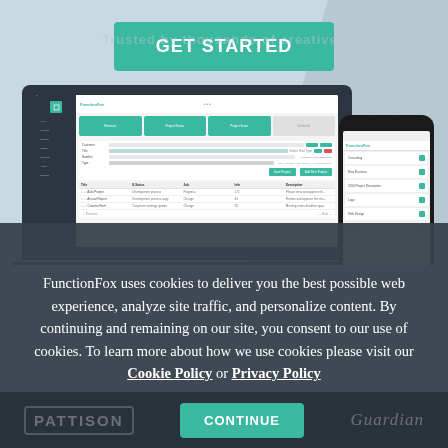[Figure (screenshot): GET STARTED button (teal/green) above laptop and phone device mockups showing FunctionFox project management software interface on a light blue background]
FunctionFox uses cookies to deliver you the best possible web experience, analyze site traffic, and personalize content. By continuing and remaining on our site, you consent to our use of cookies. To learn more about how we use cookies please visit our Cookie Policy or Privacy Policy
[Figure (logo): PATTISON logo (faded) on bottom left, Guardian logo (faded) on bottom right, CONTINUE button (teal) in center bottom]